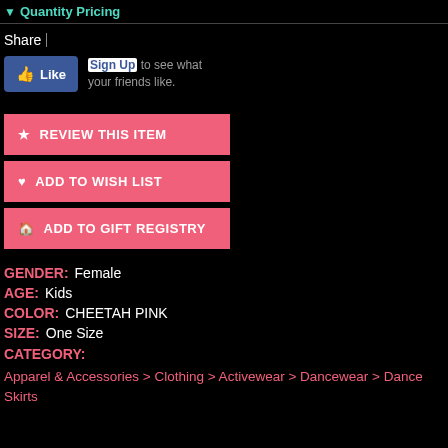Quantity Pricing
Share
[Figure (screenshot): Facebook Like button with Sign Up text]
REVIEW THIS ITEM
ADD TO WISH LIST
ADD TO GIFT REGISTRY
GENDER: Female
AGE: Kids
COLOR: CHEETAH PINK
SIZE: One Size
CATEGORY:
Apparel & Accessories > Clothing > Activewear > Dancewear > Dance Skirts